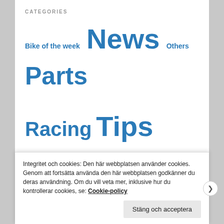CATEGORIES
Bike of the week  News  Others  Parts  Racing  Tips  Training  Video
CYCLINGBLOGS
Henrik Öijer
Mikael Flockhart
Elna Dahlstrand
Anna Jansson
Emil Lindgren
Integritet och cookies: Den här webbplatsen använder cookies. Genom att fortsätta använda den här webbplatsen godkänner du deras användning. Om du vill veta mer, inklusive hur du kontrollerar cookies, se: Cookie-policy
Stäng och acceptera